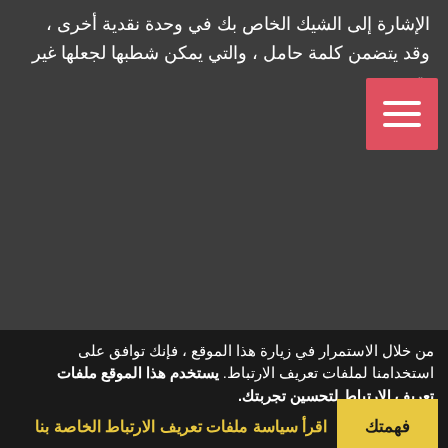الإشارة إلى الشيك الخاص بك في وحدة نقدية أخرى ، وقد يتضمن كلمة حامل ، والتي يمكن شطبها لجعلها غير نقدية.
[Figure (other): Red square button with hamburger menu icon (three horizontal white lines)]
من خلال الاستمرار في زيارة هذا الموقع ، فإنك توافق على استخدامنا لملفات تعريف الارتباط. يستخدم هذا الموقع ملفات تعريف الارتباط لتحسين تجربتك.
اقرأ سياسة ملفات تعريف الارتباط الخاصة بنا
فهمتك